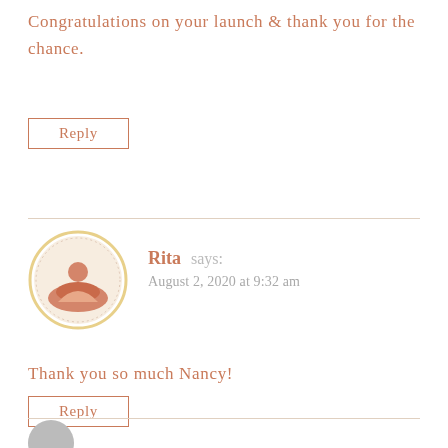Congratulations on your launch & thank you for the chance.
Reply
Rita says: August 2, 2020 at 9:32 am
Thank you so much Nancy!
Reply